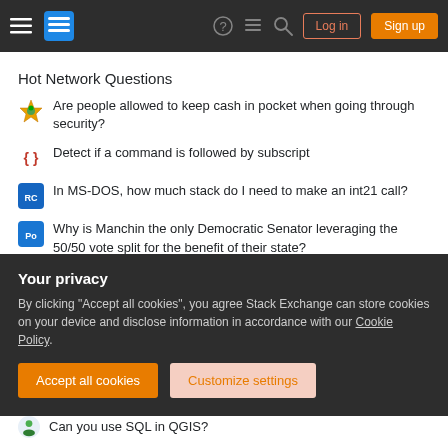Stack Exchange navigation bar with Log in and Sign up buttons
Hot Network Questions
Are people allowed to keep cash in pocket when going through security?
Detect if a command is followed by subscript
In MS-DOS, how much stack do I need to make an int21 call?
Why is Manchin the only Democratic Senator leveraging the 50/50 vote split for the benefit of their state?
Wave Function Collapse and the Dirac Delta Function
Is there a method faster than FindFit to fit conical elliptical cylinder to point data?
Your privacy
By clicking "Accept all cookies", you agree Stack Exchange can store cookies on your device and disclose information in accordance with our Cookie Policy.
Accept all cookies | Customize settings
Can you use SQL in QGIS?